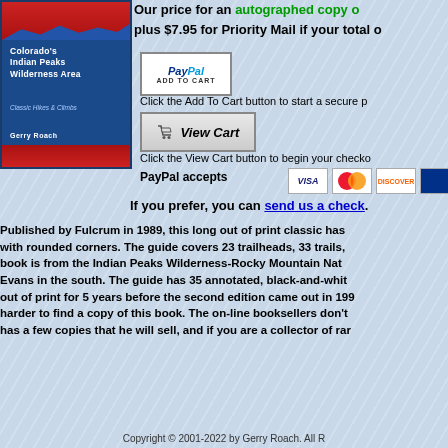[Figure (illustration): Book cover for Colorado's Indian Peaks Wilderness Area by Gerry Roach, published by Fulcrum. Blue cover with red top and bottom bands, white title text, subtitle Classic Hikes & Climbs.]
Our price for an autographed copy of plus $7.95 for Priority Mail if your total o
[Figure (other): PayPal Add to Cart button]
Click the Add To Cart button to start a secure p
[Figure (other): View Cart button with shopping cart icon]
Click the View Cart button to begin your checko
PayPal accepts
[Figure (other): Credit card logos: Visa, MasterCard, Discover, and one more]
If you prefer, you can send us a check.
Published by Fulcrum in 1989, this long out of print classic has with rounded corners. The guide covers 23 trailheads, 33 trails, book is from the Indian Peaks Wilderness-Rocky Mountain Nat Evans in the south. The guide has 35 annotated, black-and-whit out of print for 5 years before the second edition came out in 19 harder to find a copy of this book. The on-line booksellers don't has a few copies that he will sell, and if you are a collector of rar
Copyright © 2001-2022 by Gerry Roach. All R